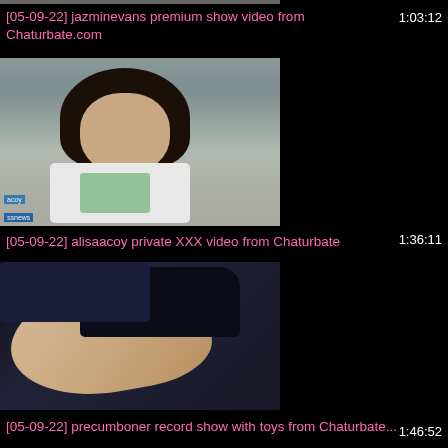[Figure (screenshot): Partially visible video thumbnail at top of page]
[05-09-22] jazminevans premium show video from Chaturbate.com
1:03:12
[Figure (screenshot): Video thumbnail showing a person with dark hair smiling, wearing a white shirt with green design. Watermarks visible: 'acoy' and 'ssnews']
[05-09-22] alisaacoy private XXX video from Chaturbate
1:36:11
[Figure (screenshot): Video thumbnail showing a person lying on dark fabric/bedding with legs visible]
[05-09-22] precumboner record show with toys from
Chaturbate...
1:46:52